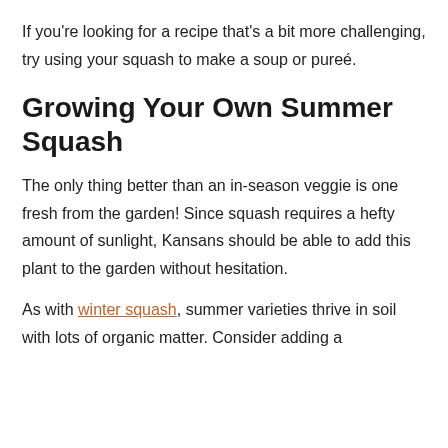If you're looking for a recipe that's a bit more challenging, try using your squash to make a soup or pureé.
Growing Your Own Summer Squash
The only thing better than an in-season veggie is one fresh from the garden! Since squash requires a hefty amount of sunlight, Kansans should be able to add this plant to the garden without hesitation.
As with winter squash, summer varieties thrive in soil with lots of organic matter. Consider adding a